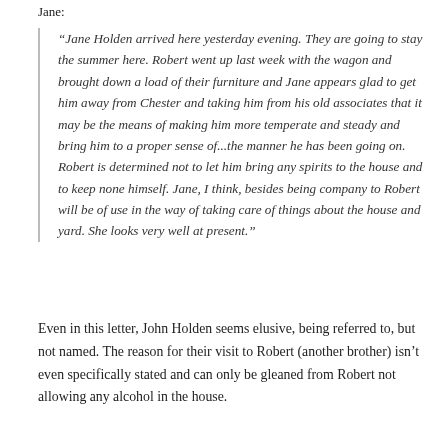Jane:
“Jane Holden arrived here yesterday evening. They are going to stay the summer here. Robert went up last week with the wagon and brought down a load of their furniture and Jane appears glad to get him away from Chester and taking him from his old associates that it may be the means of making him more temperate and steady and bring him to a proper sense of...the manner he has been going on. Robert is determined not to let him bring any spirits to the house and to keep none himself. Jane, I think, besides being company to Robert will be of use in the way of taking care of things about the house and yard. She looks very well at present.”
Even in this letter, John Holden seems elusive, being referred to, but not named. The reason for their visit to Robert (another brother) isn’t even specifically stated and can only be gleaned from Robert not allowing any alcohol in the house.